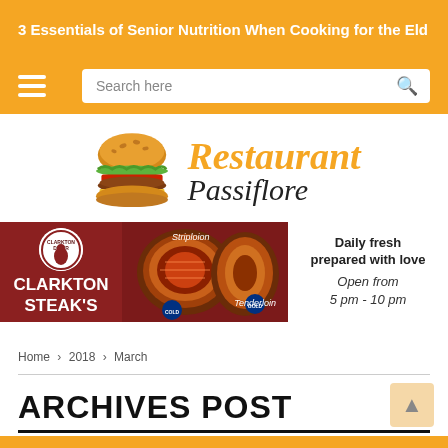3 Essentials of Senior Nutrition When Cooking for the Eld
[Figure (screenshot): Navigation bar with hamburger menu icon and search box on orange background]
[Figure (logo): Restaurant Passiflore logo with burger icon on the left and italic text on the right in orange and black]
[Figure (photo): Clarkton Steak's advertisement banner showing steaks with text: Striploion, CLARKTON STEAK'S, Tenderloin, Daily fresh prepared with love, Open from 5 pm - 10 pm]
Home > 2018 > March
ARCHIVES POST